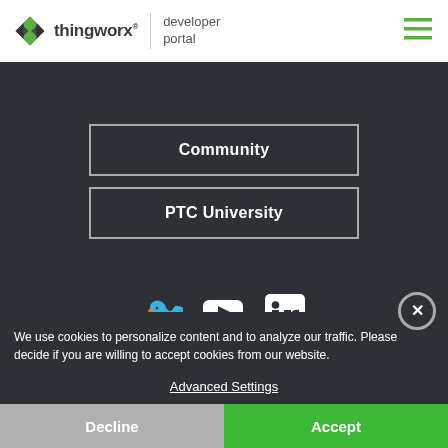thingworx developer portal
Community
PTC University
[Figure (illustration): Social media icons: Twitter bird, YouTube play button, LinkedIn logo]
We use cookies to personalize content and to analyze our traffic. Please decide if you are willing to accept cookies from our website.
Advanced Settings
Decline
Accept